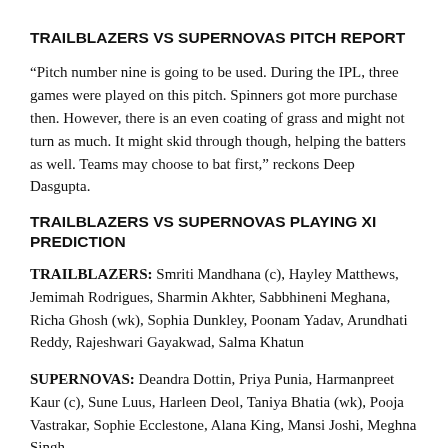TRAILBLAZERS VS SUPERNOVAS PITCH REPORT
“Pitch number nine is going to be used. During the IPL, three games were played on this pitch. Spinners got more purchase then. However, there is an even coating of grass and might not turn as much. It might skid through though, helping the batters as well. Teams may choose to bat first,” reckons Deep Dasgupta.
TRAILBLAZERS VS SUPERNOVAS PLAYING XI PREDICTION
TRAILBLAZERS: Smriti Mandhana (c), Hayley Matthews, Jemimah Rodrigues, Sharmin Akhter, Sabbhineni Meghana, Richa Ghosh (wk), Sophia Dunkley, Poonam Yadav, Arundhati Reddy, Rajeshwari Gayakwad, Salma Khatun
SUPERNOVAS: Deandra Dottin, Priya Punia, Harmanpreet Kaur (c), Sune Luus, Harleen Deol, Taniya Bhatia (wk), Pooja Vastrakar, Sophie Ecclestone, Alana King, Mansi Joshi, Meghna Singh